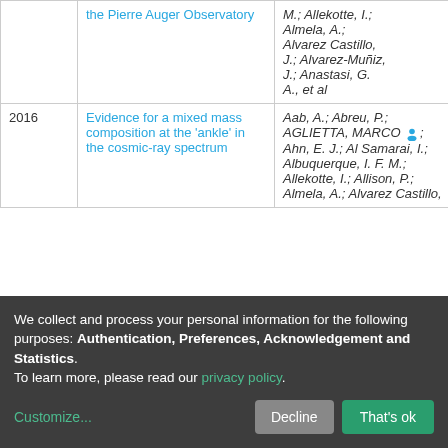| Year | Title | Authors | Access |
| --- | --- | --- | --- |
|  | the Pierre Auger Observatory | M.; Allekotte, I.; Almela, A.; Alvarez Castillo, J.; Alvarez-Muñiz, J.; Anastasi, G. A., et al |  |
| 2016 | Evidence for a mixed mass composition at the 'ankle' in the cosmic-ray spectrum | Aab, A.; Abreu, P.; AGLIETTA, MARCO [person]; Ahn, E. J.; Al Samarai, I.; Albuquerque, I. F. M.; Allekotte, I.; Allison, P.; Almela, A.; Alvarez Castillo, | open |
We collect and process your personal information for the following purposes: Authentication, Preferences, Acknowledgement and Statistics.
To learn more, please read our privacy policy.